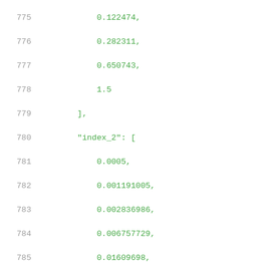775    0.122474,
776    0.282311,
777    0.650743,
778    1.5
779    ],
780    "index_2": [
781    0.0005,
782    0.001191005,
783    0.002836986,
784    0.006757729,
785    0.01609698,
786    0.03834316,
787    0.0913338
788    ],
789    "values": [
790    [
791    0.0020695,
792    0.0067955,
793    0.0147009,
794    0.0233693,
795    0.023757,